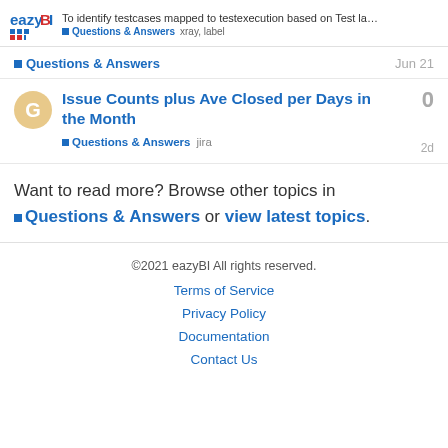eazyBI | To identify testcases mapped to testexecution based on Test la… | Questions & Answers  xray, label
Questions & Answers  Jun 21
Issue Counts plus Ave Closed per Days in the Month
Questions & Answers  jira  2d  0
Want to read more? Browse other topics in Questions & Answers or view latest topics.
©2021 eazyBI All rights reserved. Terms of Service  Privacy Policy  Documentation  Contact Us